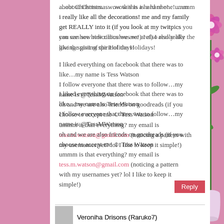about Christmas…wow this is a hard one!…umm i really like all the decorations! me and my family get REALLY into it (if you look at my twitpics you can see how ridiculous we are!) I also really like the giving spirit of the Holidays!
I liked everything on facebook that there was to like…my name is Tess Watson
I follow everyone that there was to follow…my name is @TessMWatson
oh and we are also friends on goodreads (if you choose to accept me ☺ Tess Watson
ummm is that everything? my email is tess.m.watson@gmail.com (noticing a pattern with my usernames yet? lol I like to keep it simple!)
Veroniha Drisons (Raruko7)